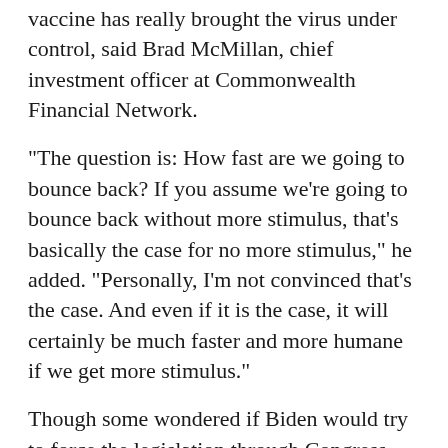vaccine has really brought the virus under control, said Brad McMillan, chief investment officer at Commonwealth Financial Network.
"The question is: How fast are we going to bounce back? If you assume we're going to bounce back without more stimulus, that's basically the case for no more stimulus," he added. "Personally, I'm not convinced that's the case. And even if it is the case, it will certainly be much faster and more humane if we get more stimulus."
Though some wondered if Biden would try to force the legislation through Congress using a special budgetary tool known as reconciliation, the president-elect is hoping the proposal will appeal to members of both parties.